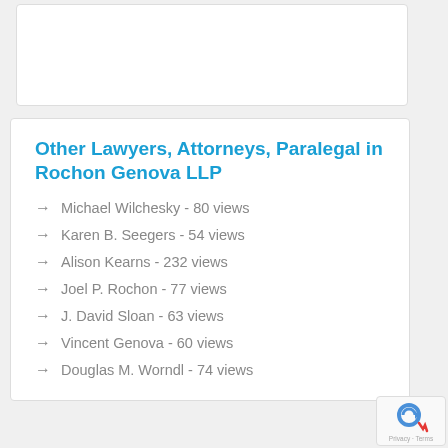[Figure (other): White box placeholder at top of page]
Other Lawyers, Attorneys, Paralegal in Rochon Genova LLP
Michael Wilchesky - 80 views
Karen B. Seegers - 54 views
Alison Kearns - 232 views
Joel P. Rochon - 77 views
J. David Sloan - 63 views
Vincent Genova - 60 views
Douglas M. Worndl - 74 views
[Figure (logo): reCAPTCHA Privacy Terms badge in bottom right corner]